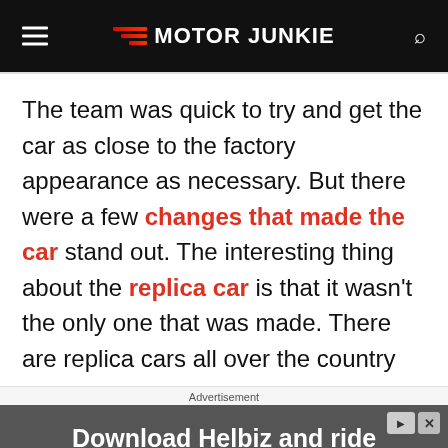Motor Junkie
The team was quick to try and get the car as close to the factory appearance as necessary. But there were a few changes that made the car stand out. The interesting thing about the replica car is that it wasn't the only one that was made. There are replica cars all over the country
Advertisement
[Figure (photo): Advertisement banner: Download Helbiz and ride]